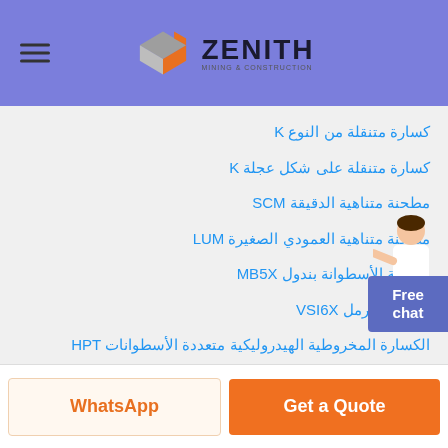[Figure (logo): Zenith Mining & Construction logo with geometric diamond shape in orange and grey]
كسارة متنقلة من النوع K
كسارة متنقلة على شكل عجلة K
مطحنة متناهية الدقيقة SCM
مطحنة متناهية العمودي الصغيرة LUM
مطحنة الأسطوانة بندول MB5X
آلة صنع الرمل VSI6X
الكسارة المخروطية الهيدروليكية متعددة الأسطوانات HPT
كسارة تصادمية CI5X
كسارة الفك PEW
كسارة تحريضية HGT
WhatsApp
Get a Quote